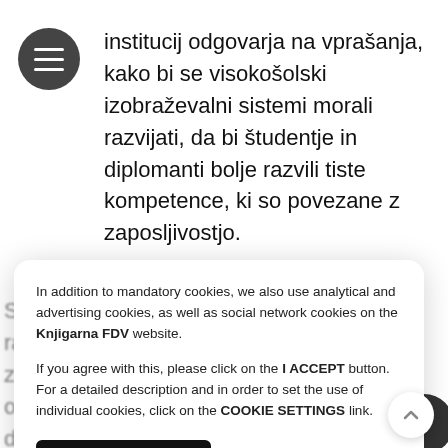institucij odgovarja na vprašanja, kako bi se visokošolski izobraževalni sistemi morali razvijati, da bi študentje in diplomanti bolje razvili tiste kompetence, ki so povezane z zaposljivostjo.
Delo predstavlja pomemben prispevek k raziskovanju problematike zaposljivosti visokošolskih diplomantov v Sloveniji. Teoretična izhodišča pripomore k razumevanju, kako akademski institucij zagotavlja možnosti za karierno in poklicno orientirane studij, ki bi pripomogli pri doseganju kompetenc zaposljivosti.
In addition to mandatory cookies, we also use analytical and advertising cookies, as well as social network cookies on the Knjigarna FDV website.

If you agree with this, please click on the I ACCEPT button. For a detailed description and in order to set the use of individual cookies, click on the COOKIE SETTINGS link.